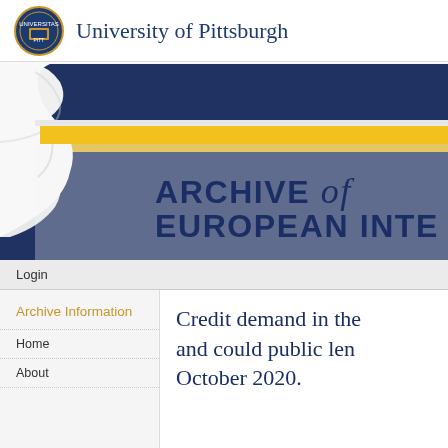University of Pittsburgh
[Figure (screenshot): University of Pittsburgh website banner showing page-curl graphic over dark navy background with yellow stripe, with 'ARCHIVE of EUROPEAN INTE' title text in bold dark navy]
Login
Archive Information
Home
About
Credit demand in the and could public len October 2020.